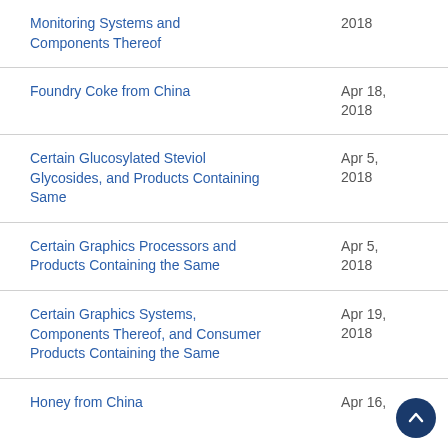| Case Name | Date |
| --- | --- |
| Monitoring Systems and Components Thereof | 2018 |
| Foundry Coke from China | Apr 18, 2018 |
| Certain Glucosylated Steviol Glycosides, and Products Containing Same | Apr 5, 2018 |
| Certain Graphics Processors and Products Containing the Same | Apr 5, 2018 |
| Certain Graphics Systems, Components Thereof, and Consumer Products Containing the Same | Apr 19, 2018 |
| Honey from China | Apr 16, |